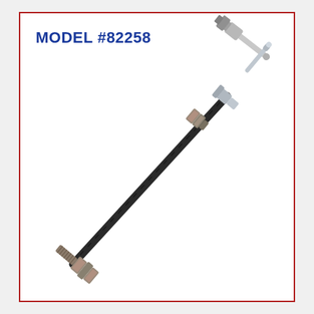MODEL #82258
[Figure (photo): A hydraulic brake hose assembly (Model #82258) shown diagonally. The hose is black rubber with metal fittings on both ends — the lower-left end has threaded male fittings with hex brackets, and the upper-right end has a silver/zinc-coated banjo or bullet-style connector fitting. The assembly is photographed on a white background.]